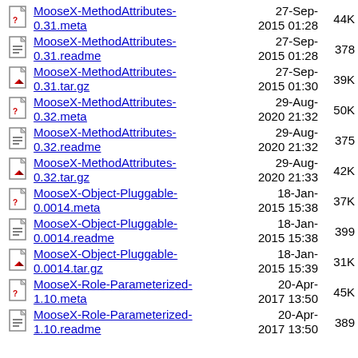MooseX-MethodAttributes-0.31.meta  27-Sep-2015 01:28  44K
MooseX-MethodAttributes-0.31.readme  27-Sep-2015 01:28  378
MooseX-MethodAttributes-0.31.tar.gz  27-Sep-2015 01:30  39K
MooseX-MethodAttributes-0.32.meta  29-Aug-2020 21:32  50K
MooseX-MethodAttributes-0.32.readme  29-Aug-2020 21:32  375
MooseX-MethodAttributes-0.32.tar.gz  29-Aug-2020 21:33  42K
MooseX-Object-Pluggable-0.0014.meta  18-Jan-2015 15:38  37K
MooseX-Object-Pluggable-0.0014.readme  18-Jan-2015 15:38  399
MooseX-Object-Pluggable-0.0014.tar.gz  18-Jan-2015 15:39  31K
MooseX-Role-Parameterized-1.10.meta  20-Apr-2017 13:50  45K
MooseX-Role-Parameterized-1.10.readme  20-Apr-2017 13:50  389